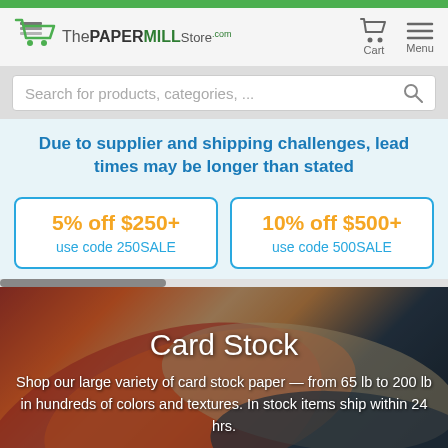[Figure (logo): ThePaperMillStore logo with shopping cart icon]
Search for products, categories, ...
Due to supplier and shipping challenges, lead times may be longer than stated
5% off $250+
use code 250SALE
10% off $500+
use code 500SALE
Card Stock
Shop our large variety of card stock paper — from 65 lb to 200 lb in hundreds of colors and textures. In stock items ship within 24 hrs.